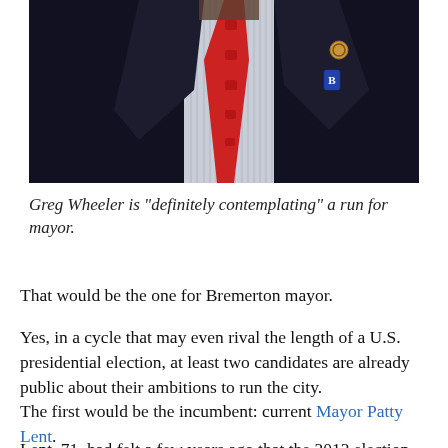[Figure (photo): Close-up photo of a man in a dark suit with a red patterned tie and striped shirt, wearing lapel pins including what appears to be a Rotary pin and a 'B' pin.]
Greg Wheeler is “definitely contemplating” a run for mayor.
That would be the one for Bremerton mayor.
Yes, in a cycle that may even rival the length of a U.S. presidential election, at least two candidates are already public about their ambitions to run the city.
The first would be the incumbent: current Mayor Patty Lent.
Lent, 71, had felt a few years ago that the 2013 election would be her last. But as she hits the